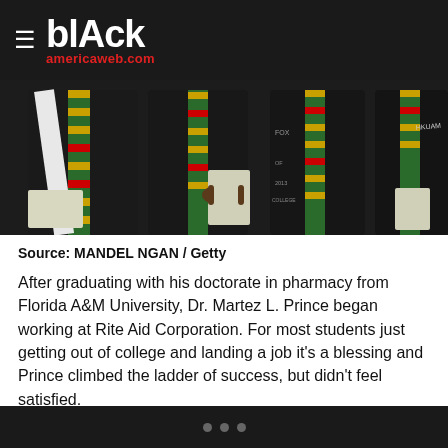≡ blAck americaweb.com
[Figure (photo): Close-up photo of graduation ceremony attendees wearing black graduation gowns and Kente cloth stoles in green, yellow, and red colors. Multiple people are visible from the chest down, holding diplomas or programs.]
Source: MANDEL NGAN / Getty
After graduating with his doctorate in pharmacy from Florida A&M University, Dr. Martez L. Prince began working at Rite Aid Corporation. For most students just getting out of college and landing a job it's a blessing and Prince climbed the ladder of success, but didn't feel satisfied.
• • •